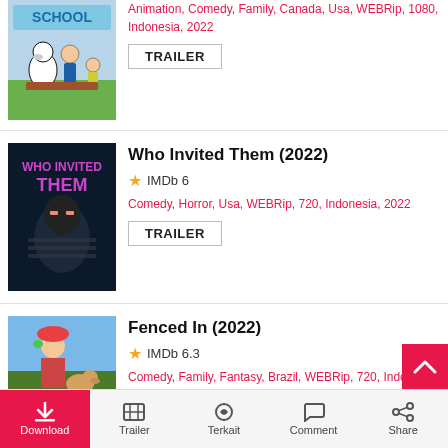[Figure (screenshot): Partial top of first movie listing — Peanuts-style animated movie poster showing Snoopy and Charlie Brown at school]
Animation, Comedy, Family, Canada, Usa, WEBRip, 1080, Indonesia, 2022
TRAILER
Who Invited Them (2022)
IMDb 6
Comedy, Horror, Usa, WEBRip, 720, Indonesia, 2022
TRAILER
[Figure (photo): Movie poster for Who Invited Them — dark thriller image with masked figures]
Fenced In (2022)
IMDb 6.3
Comedy, Family, Fantasy, Brazil, WEBRip, 720, Indonesia, 2022
TRAILER
[Figure (photo): Movie poster for Fenced In — colorful image with a man, woman and dog]
Download | Trailer | Terkait | Comment | Share